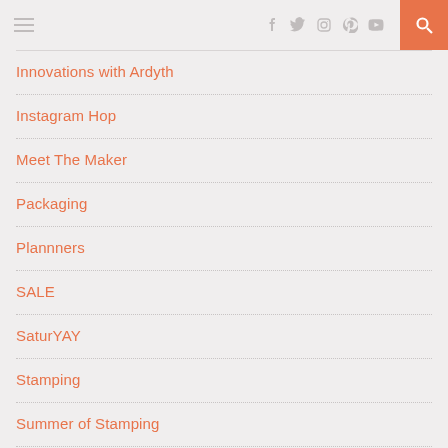Navigation bar with hamburger menu, social icons (Facebook, Twitter, Instagram, Pinterest, YouTube), and search button
Innovations with Ardyth
Instagram Hop
Meet The Maker
Packaging
Plannners
SALE
SaturYAY
Stamping
Summer of Stamping
Two Minute Tips
Uncategorized
United We Flourish